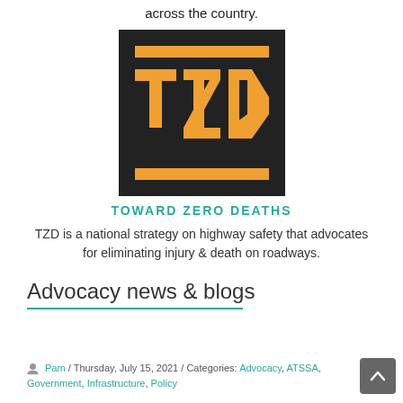across the country.
[Figure (logo): TZD (Toward Zero Deaths) logo — black square background with orange horizontal bars at top and bottom and large orange 'TZD' letters in the center]
TOWARD ZERO DEATHS
TZD is a national strategy on highway safety that advocates for eliminating injury & death on roadways.
Advocacy news & blogs
Pam / Thursday, July 15, 2021 / Categories: Advocacy, ATSSA, Government, Infrastructure, Policy